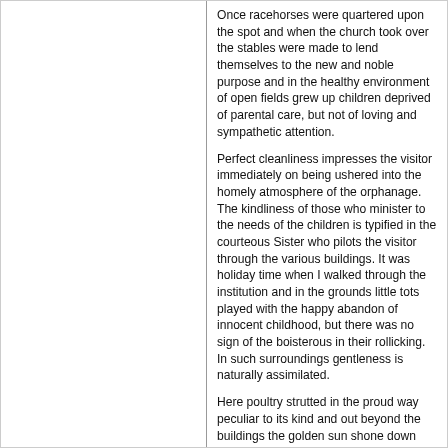Once racehorses were quartered upon the spot and when the church took over the stables were made to lend themselves to the new and noble purpose and in the healthy environment of open fields grew up children deprived of parental care, but not of loving and sympathetic attention.
Perfect cleanliness impresses the visitor immediately on being ushered into the homely atmosphere of the orphanage. The kindliness of those who minister to the needs of the children is typified in the courteous Sister who pilots the visitor through the various buildings. It was holiday time when I walked through the institution and in the grounds little tots played with the happy abandon of innocent childhood, but there was no sign of the boisterous in their rollicking. In such surroundings gentleness is naturally assimilated.
Here poultry strutted in the proud way peculiar to its kind and out beyond the buildings the golden sun shone down upon a green sea of corn. 'Our crop', said the Sister, smilingly. This 'crop' when gathered in would form fodder for the 'great stock' of the institution - four good old cows, which emphasise the delightful rurality of the whole thing. 'We teach the boys to milk', said my